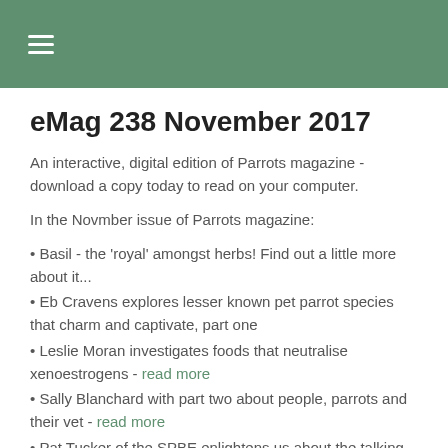≡
eMag 238 November 2017
An interactive, digital edition of Parrots magazine - download a copy today to read on your computer.
In the Novmber issue of Parrots magazine:
• Basil - the 'royal' amongst herbs! Find out a little more about it...
• Eb Cravens explores lesser known pet parrot species that charm and captivate, part one
• Leslie Moran investigates foods that neutralise xenoestrogens - read more
• Sally Blanchard with part two about people, parrots and their vet - read more
• Pat Tucker of the SPBE enlightens us about the talking ability of Conures